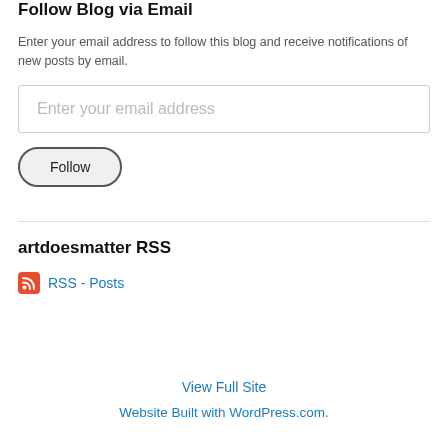Follow Blog via Email
Enter your email address to follow this blog and receive notifications of new posts by email.
[Figure (other): Email input field with placeholder text 'Enter your email address']
[Figure (other): Follow button with rounded pill border]
artdoesmatter RSS
RSS - Posts
View Full Site
Website Built with WordPress.com.